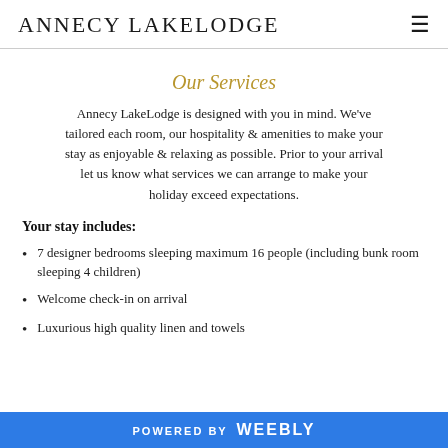ANNECY LAKELODGE
Our Services
Annecy LakeLodge is designed with you in mind. We've tailored each room, our hospitality & amenities to make your stay as enjoyable & relaxing as possible. Prior to your arrival let us know what services we can arrange to make your holiday exceed expectations.
Your stay includes:
7 designer bedrooms sleeping maximum 16 people (including bunk room sleeping 4 children)
Welcome check-in on arrival
Luxurious high quality linen and towels
POWERED BY Weebly